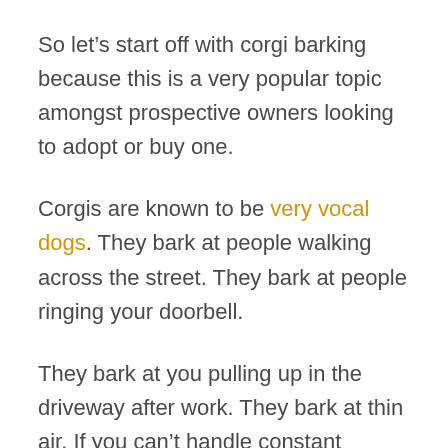So let’s start off with corgi barking because this is a very popular topic amongst prospective owners looking to adopt or buy one.
Corgis are known to be very vocal dogs. They bark at people walking across the street. They bark at people ringing your doorbell.
They bark at you pulling up in the driveway after work. They bark at thin air. If you can’t handle constant barking, then a corgi may not be for you.
As painful as that sounds, these dogs were just